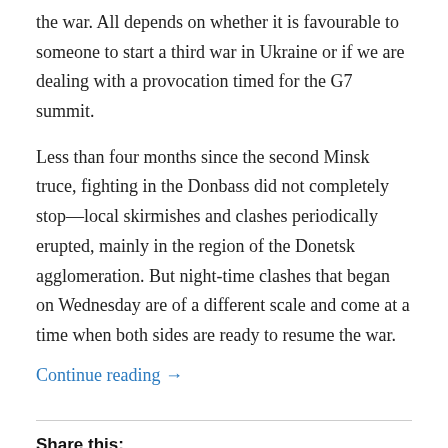the war. All depends on whether it is favourable to someone to start a third war in Ukraine or if we are dealing with a provocation timed for the G7 summit.
Less than four months since the second Minsk truce, fighting in the Donbass did not completely stop—local skirmishes and clashes periodically erupted, mainly in the region of the Donetsk agglomeration. But night-time clashes that began on Wednesday are of a different scale and come at a time when both sides are ready to resume the war.
Continue reading →
Share this:
Facebook  Twitter  LinkedIn  Reddit  Email
Print  Tumblr